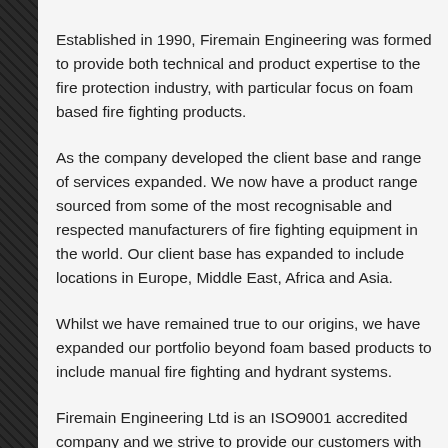Established in 1990, Firemain Engineering was formed to provide both technical and product expertise to the fire protection industry, with particular focus on foam based fire fighting products.
As the company developed the client base and range of services expanded. We now have a product range sourced from some of the most recognisable and respected manufacturers of fire fighting equipment in the world. Our client base has expanded to include locations in Europe, Middle East, Africa and Asia.
Whilst we have remained true to our origins, we have expanded our portfolio beyond foam based products to include manual fire fighting and hydrant systems.
Firemain Engineering Ltd is an ISO9001 accredited company and we strive to provide our customers with the highest quality products. Our aim is to design, manufacture and consistently supply service and products which